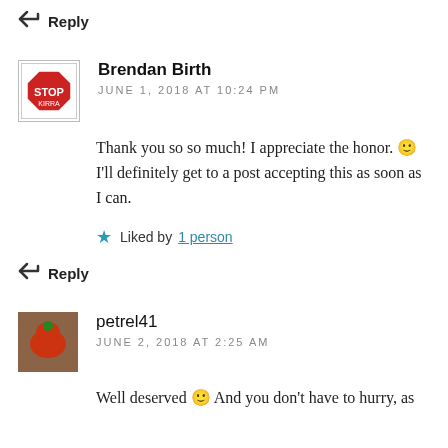Reply
Brendan Birth
JUNE 1, 2018 AT 10:24 PM
Thank you so so much! I appreciate the honor. 🙂 I'll definitely get to a post accepting this as soon as I can.
Liked by 1 person
Reply
petrel41
JUNE 2, 2018 AT 2:25 AM
Well deserved 🙂 And you don't have to hurry, as